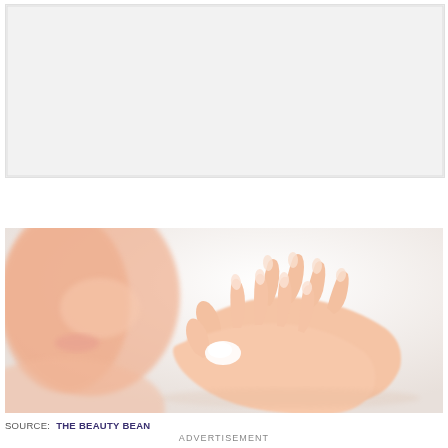[Figure (photo): Top portion of page — light gray/white placeholder image area]
[Figure (photo): A woman applying hand cream or lotion, rubbing hands together, smiling softly; soft focus beauty/skincare photo against white background]
SOURCE: THE BEAUTY BEAN
ADVERTISEMENT